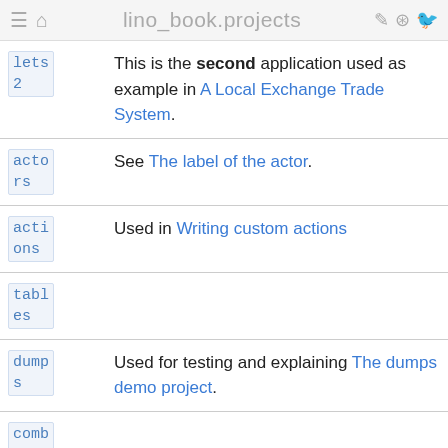lino_book.projects
| key | description |
| --- | --- |
| lets
2 | This is the second application used as example in A Local Exchange Trade System. |
| actors | See The label of the actor. |
| actions | Used in Writing custom actions |
| tables |  |
| dumps | Used for testing and explaining The dumps demo project. |
| combo |  |
| polly | A little application for managing polls, explained in Lino Polly. |
| poll | See The Lino Polls tutorial |